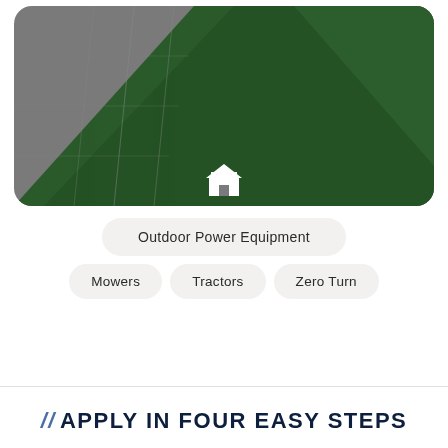[Figure (photo): Aerial view of a lawn/grass field next to a gray paved or concrete surface, with a small white house/store icon overlay in the center bottom of the image]
Outdoor Power Equipment
Mowers
Tractors
Zero Turn
// APPLY IN FOUR EASY STEPS